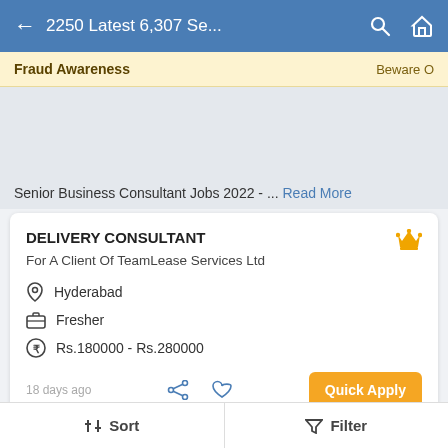← 2250 Latest 6,307 Se...
Fraud Awareness   Beware O
Senior Business Consultant Jobs 2022 - ... Read More
DELIVERY CONSULTANT
For A Client Of TeamLease Services Ltd
Hyderabad
Fresher
Rs.180000 - Rs.280000
18 days ago
Quick Apply
⇅ Sort   ▼ Filter